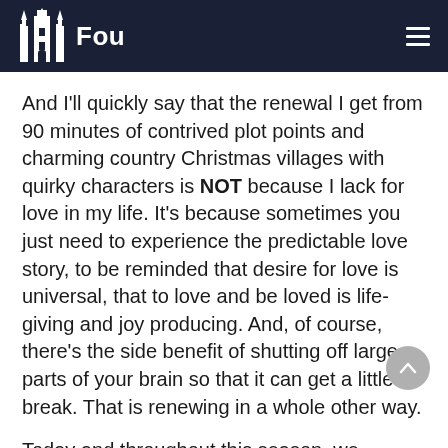Fou
And I'll quickly say that the renewal I get from 90 minutes of contrived plot points and charming country Christmas villages with quirky characters is NOT because I lack for love in my life. It's because sometimes you just need to experience the predictable love story, to be reminded that desire for love is universal, that to love and be loved is life-giving and joy producing. And, of course, there's the side benefit of shutting off large parts of your brain so that it can get a little break. That is renewing in a whole other way.
Today and throughout this season, we receive again the familiar story of God's love affair with us. It goes